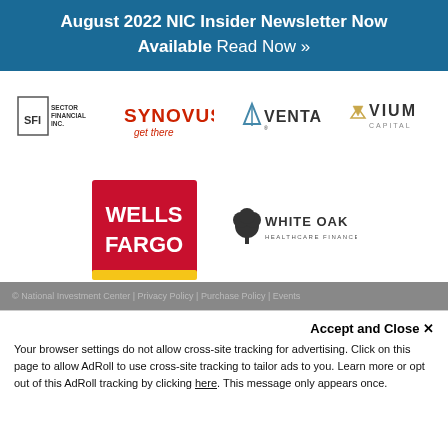August 2022 NIC Insider Newsletter Now Available Read Now »
[Figure (logo): Sector Financial Inc. logo — SFI box with text]
[Figure (logo): Synovus get there logo in red]
[Figure (logo): Ventas logo with triangle icon]
[Figure (logo): Vium Capital logo with chevron icon]
[Figure (logo): Wells Fargo red square logo]
[Figure (logo): White Oak Healthcare Finance logo with tree]
© National Investment Center | Privacy Policy | Purchase Policy | Events
Accept and Close ✕
Your browser settings do not allow cross-site tracking for advertising. Click on this page to allow AdRoll to use cross-site tracking to tailor ads to you. Learn more or opt out of this AdRoll tracking by clicking here. This message only appears once.